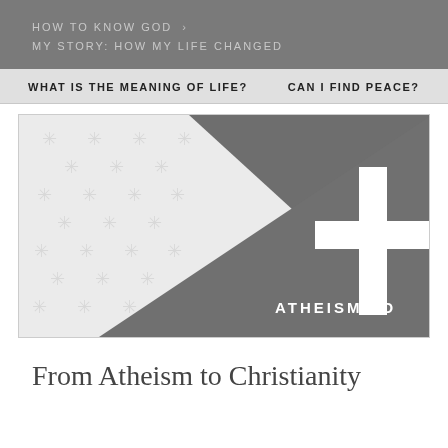HOW TO KNOW GOD > MY STORY: HOW MY LIFE CHANGED
WHAT IS THE MEANING OF LIFE?    CAN I FIND PEACE?
[Figure (illustration): Graphic image with a diagonal split: left side is light grey with repeating snowflake/asterisk watermark pattern, right side is dark grey with a large white Christian cross. Text at bottom of dark side reads 'ATHEISM TO' with the cross symbol.]
From Atheism to Christianity